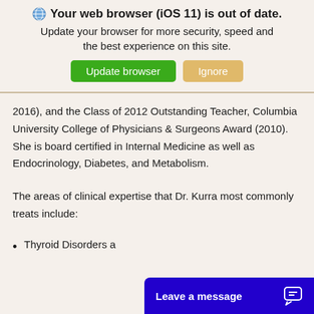[Figure (screenshot): Browser update warning banner with globe icon, bold title 'Your web browser (iOS 11) is out of date.', update message, and two buttons: 'Update browser' (green) and 'Ignore' (tan/orange).]
2016), and the Class of 2012 Outstanding Teacher, Columbia University College of Physicians & Surgeons Award (2010). She is board certified in Internal Medicine as well as Endocrinology, Diabetes, and Metabolism.
The areas of clinical expertise that Dr. Kurra most commonly treats include:
Thyroid Disorders a
[Figure (screenshot): Blue 'Leave a message' chat widget button in lower right corner with chat bubble icon.]